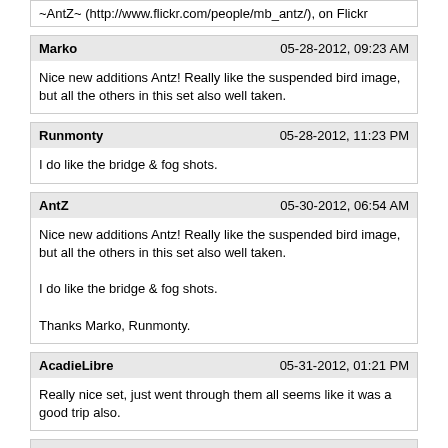~AntZ~ (http://www.flickr.com/people/mb_antz/), on Flickr
Marko	05-28-2012, 09:23 AM
Nice new additions Antz! Really like the suspended bird image, but all the others in this set also well taken.
Runmonty	05-28-2012, 11:23 PM
I do like the bridge & fog shots.
AntZ	05-30-2012, 06:54 AM
Nice new additions Antz! Really like the suspended bird image, but all the others in this set also well taken.

I do like the bridge & fog shots.

Thanks Marko, Runmonty.
AcadieLibre	05-31-2012, 01:21 PM
Really nice set, just went through them all seems like it was a good trip also.
AntZ	06-09-2012, 02:47 AM
Thanks AL. The trip was awesome. Can't wait to get to the States again...and next time I will make to Canada. I just need to squirrel away some $$ :)

I have a couple more days to post. (Maybe tonight or tomorrow.)